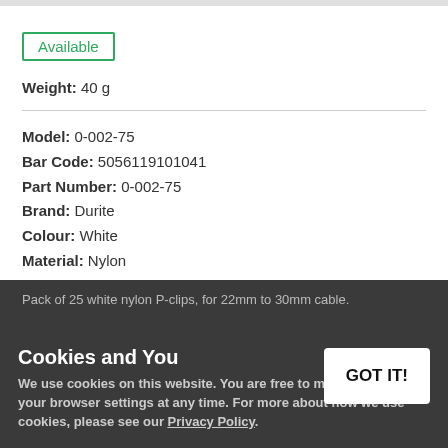Available
Weight: 40 g
Model: 0-002-75
Bar Code: 5056119101041
Part Number: 0-002-75
Brand: Durite
Colour: White
Material: Nylon
Share  Tweet  Save  Share
Pack of 25 white nylon P-clips, for 22mm to 30mm cable.
Cookies and You
We use cookies on this website. You are free to manage these via your browser settings at any time. For more about how we use cookies, please see our Privacy Policy.